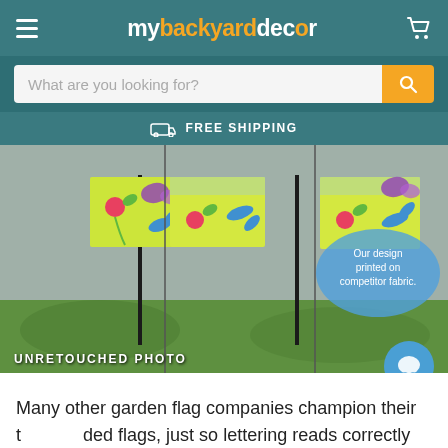mybackyarddecor
[Figure (screenshot): Website header with hamburger menu, mybackyarddecor logo in white and orange, and cart icon on teal background]
[Figure (screenshot): Search bar with placeholder 'What are you looking for?' and orange search button]
FREE SHIPPING
[Figure (photo): Unretouched photo of garden flags with floral/butterfly design displayed on grass. Right side shows a blue bubble with text 'Our design printed on competitor fabric.' Label at bottom left reads 'UNRETOUCHED PHOTO']
Many other garden flag companies champion their two-sided flags, just so lettering reads correctly on front and back. While